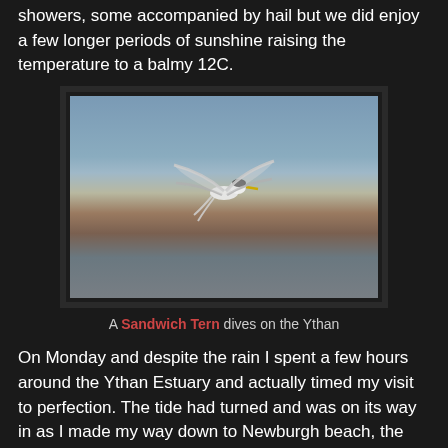showers, some accompanied by hail but we did enjoy a few longer periods of sunshine raising the temperature to a balmy 12C.
[Figure (photo): A Sandwich Tern in flight, diving over the Ythan estuary. The bird is captured mid-dive against a blue-grey sky, with blurred sandy and water background below.]
A Sandwich Tern dives on the Ythan
On Monday and despite the rain I spent a few hours around the Ythan Estuary and actually timed my visit to perfection. The tide had turned and was on its way in as I made my way down to Newburgh beach, the best place to look for Terns with the Forvie Sands ternary on the opposite bank now cordoned off.